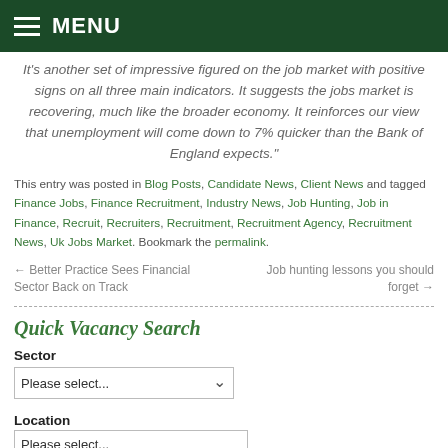MENU
It's another set of impressive figured on the job market with positive signs on all three main indicators. It suggests the jobs market is recovering, much like the broader economy. It reinforces our view that unemployment will come down to 7% quicker than the Bank of England expects."
This entry was posted in Blog Posts, Candidate News, Client News and tagged Finance Jobs, Finance Recruitment, Industry News, Job Hunting, Job in Finance, Recruit, Recruiters, Recruitment, Recruitment Agency, Recruitment News, Uk Jobs Market. Bookmark the permalink.
← Better Practice Sees Financial Sector Back on Track   Job hunting lessons you should forget →
Quick Vacancy Search
Sector
Location